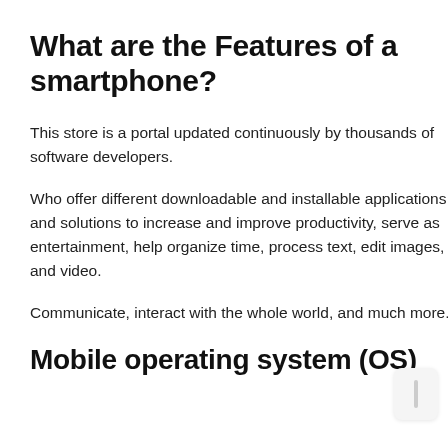What are the Features of a smartphone?
This store is a portal updated continuously by thousands of software developers.
Who offer different downloadable and installable applications and solutions to increase and improve productivity, serve as entertainment, help organize time, process text, edit images, and video.
Communicate, interact with the whole world, and much more.
Mobile operating system (OS)